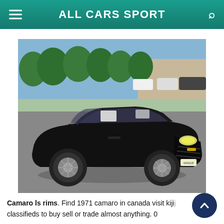ALL CARS SPORT
[Figure (photo): A black Chevrolet Camaro coupe parked in a dealership lot, front three-quarter view, with other vehicles and trees in the background.]
Camaro ls rims. Find 1971 camaro in canada visit kijiji classifieds to buy sell or trade almost anything. 0